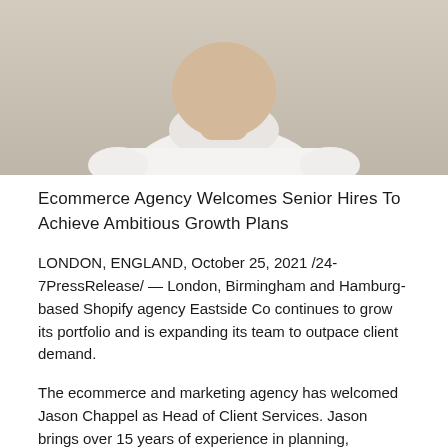[Figure (photo): Photo of a man in a white t-shirt, cropped to show torso and lower face, against a beige/neutral background]
Ecommerce Agency Welcomes Senior Hires To Achieve Ambitious Growth Plans
LONDON, ENGLAND, October 25, 2021 /24-7PressRelease/ — London, Birmingham and Hamburg-based Shopify agency Eastside Co continues to grow its portfolio and is expanding its team to outpace client demand.
The ecommerce and marketing agency has welcomed Jason Chappel as Head of Client Services. Jason brings over 15 years of experience in planning, developing and delivering internal and external strategies in fast-paced environments. His